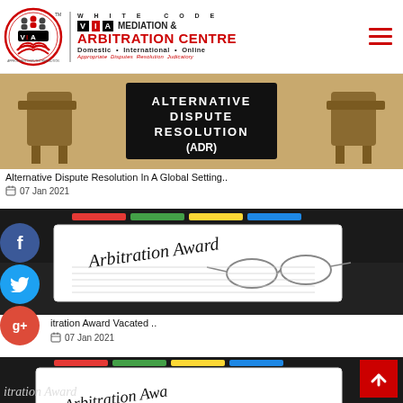[Figure (logo): VIA Mediation & Arbitration Centre logo with circular emblem showing handshake, text: WHITE CODE VIA MEDIATION & ARBITRATION CENTRE, Domestic • International • Online, Appropriate Disputes Resolution Judicatory]
[Figure (photo): Alternative Dispute Resolution (ADR) banner image with chairs and black panel with white text reading ALTERNATIVE DISPUTE RESOLUTION (ADR)]
Alternative Dispute Resolution In A Global Setting..
07 Jan 2021
[Figure (photo): Arbitration Award document with glasses and pen, colorful tabs visible]
itration Award Vacated ..
07 Jan 2021
[Figure (photo): Partial view of Arbitration Award document, partially visible, cut off at bottom]